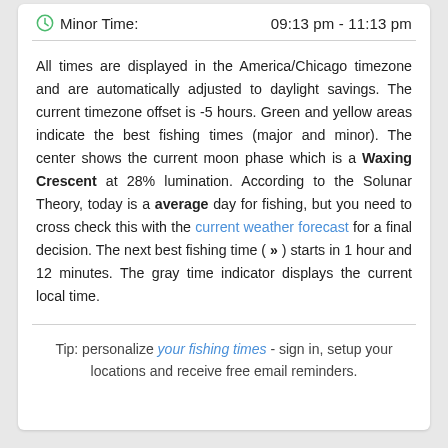Minor Time:  09:13 pm - 11:13 pm
All times are displayed in the America/Chicago timezone and are automatically adjusted to daylight savings. The current timezone offset is -5 hours. Green and yellow areas indicate the best fishing times (major and minor). The center shows the current moon phase which is a Waxing Crescent at 28% lumination. According to the Solunar Theory, today is a average day for fishing, but you need to cross check this with the current weather forecast for a final decision. The next best fishing time ( >> ) starts in 1 hour and 12 minutes. The gray time indicator displays the current local time.
Tip: personalize your fishing times - sign in, setup your locations and receive free email reminders.